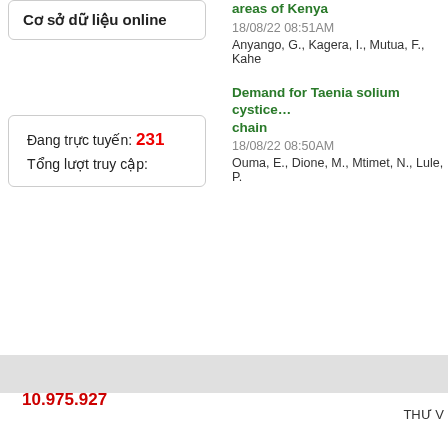Cơ sở dữ liệu online
Đang trực tuyến: 231
Tổng lượt truy cập:
10.975.927
areas of Kenya
18/08/22 08:51AM
Anyango, G., Kagera, I., Mutua, F., Kahe
Demand for Taenia solium cysticer... chain
18/08/22 08:50AM
Ouma, E., Dione, M., Mtimet, N., Lule, P.
THƯ V